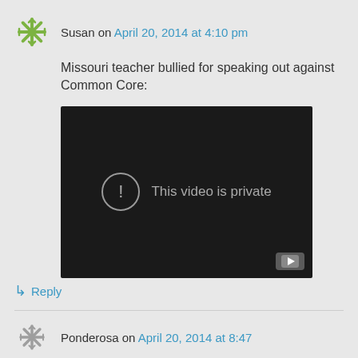Susan on April 20, 2014 at 4:10 pm
Missouri teacher bullied for speaking out against Common Core:
[Figure (screenshot): Embedded YouTube video player showing 'This video is private' message with exclamation icon and YouTube logo in bottom right corner]
↳ Reply
Ponderosa on April 20, 2014 at 8:47